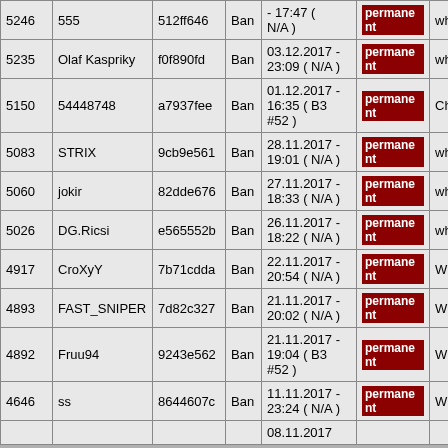| ID | Name | Hash | Type | Date | Duration | Reason |
| --- | --- | --- | --- | --- | --- | --- |
| 5246 | 555 | 512ff646 | Ban | - 17:47 ( N/A ) | permanent | wh #54 |
| 5235 | Olaf Kaspriky | f0f890fd | Ban | 03.12.2017 - 23:09 ( N/A ) | permanent | wh 52 |
| 5150 | 54448748 | a7937fee | Ban | 01.12.2017 - 16:35 ( B3 #52 ) | permanent | Cheating |
| 5083 | STRIX | 9cb9e561 | Ban | 28.11.2017 - 19:01 ( N/A ) | permanent | wh#26 |
| 5060 | jokir | 82dde676 | Ban | 27.11.2017 - 18:33 ( N/A ) | permanent | wh |
| 5026 | DG.Ricsi | e565552b | Ban | 26.11.2017 - 18:22 ( N/A ) | permanent | wh #54 |
| 4917 | CroXyY | 7b71cdda | Ban | 22.11.2017 - 20:54 ( N/A ) | permanent | WH |
| 4893 | FAST_SNIPER | 7d82c327 | Ban | 21.11.2017 - 20:02 ( N/A ) | permanent | WH |
| 4892 | Fruu94 | 9243e562 | Ban | 21.11.2017 - 19:04 ( B3 #52 ) | permanent | WH |
| 4646 | ss | 8644607c | Ban | 11.11.2017 - 23:24 ( N/A ) | permanent | WH |
|  |  |  |  | 08.11.2017 |  |  |